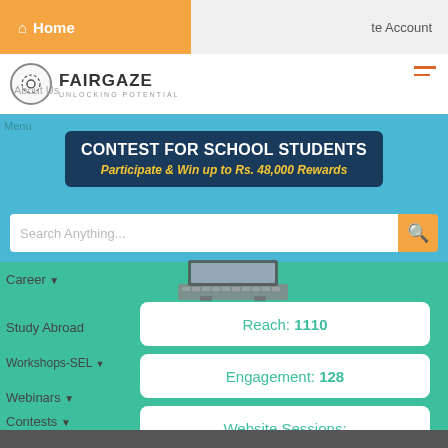Home
te Account
[Figure (logo): Fairgaze logo with gear icon and tagline UNLOCKING POTENTIAL]
About Us
[Figure (infographic): Contest for School Students banner - Participate & Win up to Rs. 48,000 Rewards]
Search Anything...
Menu
Career
Study Abroad
Workshops-SEL
Webinars
Contests
Events
Reach: 1110
Engagement: 128
Website Sessions:
Registrations: 24